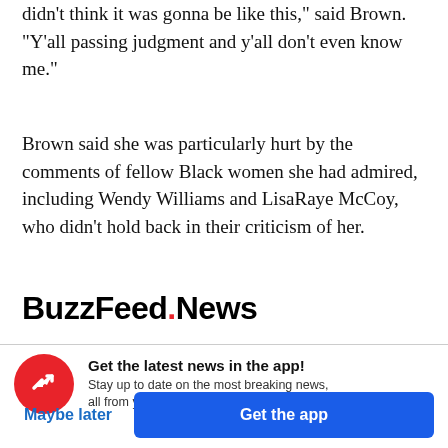didn't think it was gonna be like this," said Brown. "Y'all passing judgment and y'all don't even know me."
Brown said she was particularly hurt by the comments of fellow Black women she had admired, including Wendy Williams and LisaRaye McCoy, who didn't hold back in their criticism of her.
[Figure (logo): BuzzFeed News logo with red dot between BuzzFeed and News]
Get the latest news in the app! Stay up to date on the most breaking news, all from your BuzzFeed app.
Maybe later
Get the app